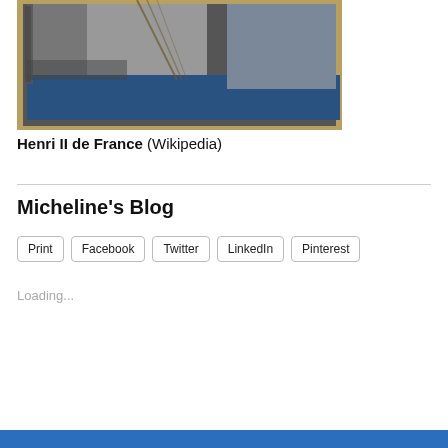[Figure (photo): Painting or historical portrait of Henri II de France, showing robes/fur garments in dark tones with blue lower portion, inside a frame.]
Henri II de France (Wikipedia)
Micheline's Blog
Print  Facebook  Twitter  LinkedIn  Pinterest
Loading...
January 15, 2021